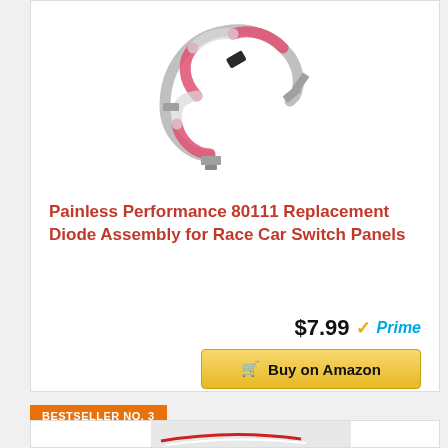[Figure (photo): Painless Performance 80111 Replacement Diode Assembly — a curved wire harness with pink/red insulated connectors and metal spade terminals on a white background]
Painless Performance 80111 Replacement Diode Assembly for Race Car Switch Panels
$7.99 ✓Prime
Buy on Amazon
BESTSELLER NO. 3
[Figure (photo): Partial view of a second electrical component product with red and white wires on a gray background]